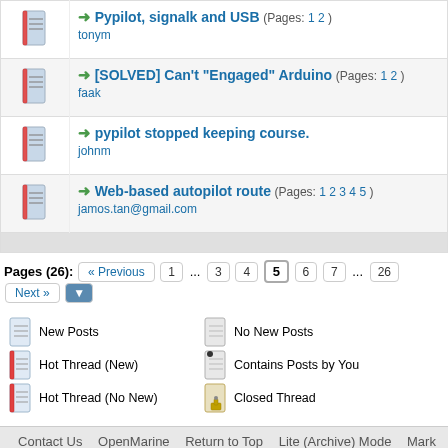Pypilot, signalk and USB (Pages: 1 2) - tonym
[SOLVED] Can't "Engaged" Arduino (Pages: 1 2) - faak
pypilot stopped keeping course. - johnm
Web-based autopilot route (Pages: 1 2 3 4 5) - jamos.tan@gmail.com
Pages (26): « Previous 1 ... 3 4 5 6 7 ... 26 Next »
New Posts | No New Posts | Hot Thread (New) | Contains Posts by You | Hot Thread (No New) | Closed Thread
Contact Us  OpenMarine  Return to Top  Lite (Archive) Mode  Mark All Forum
Powered By MyBB, © 2002-2022 MyBB Group.